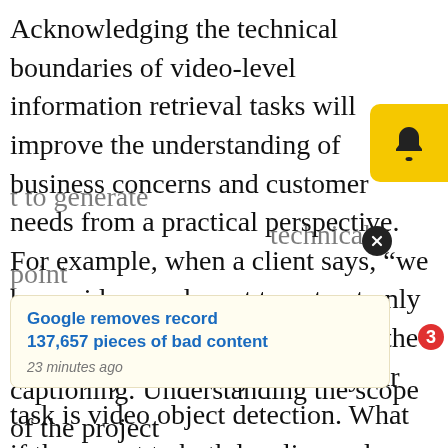Acknowledging the technical boundaries of video-level information retrieval tasks will improve the understanding of business concerns and customer needs from a practical perspective. For example, when a client says, “we have videos and want to extract only the locations of pedestrians from the videos,” you’ll recognize that your task is video object detection. What if they want to both localize and track them in videos? Then your problem is translated to the video object tracking task. Let’s say that they also want to segment them across vid… Your task is now video instance segmentation.
[Figure (other): Notification bell icon with yellow background and red badge showing number 3, and a close button (X circle)]
[Figure (screenshot): News popup overlay showing 'Google removes record 137,657 pieces of bad content' headline in blue with timestamp '23 minutes ago']
…t to generate technical point … of view, your problem can be formulated as video captioning. Understanding the scope of the project